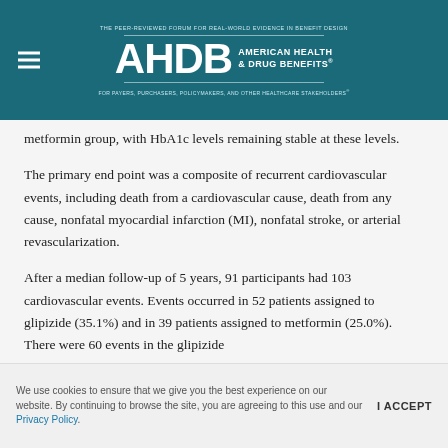AHDB American Health & Drug Benefits — The peer-reviewed forum for real-world evidence in benefit design
metformin group, with HbA1c levels remaining stable at these levels.
The primary end point was a composite of recurrent cardiovascular events, including death from a cardiovascular cause, death from any cause, nonfatal myocardial infarction (MI), nonfatal stroke, or arterial revascularization.
After a median follow-up of 5 years, 91 participants had 103 cardiovascular events. Events occurred in 52 patients assigned to glipizide (35.1%) and in 39 patients assigned to metformin (25.0%). There were 60 events in the glipizide
We use cookies to ensure that we give you the best experience on our website. By continuing to browse the site, you are agreeing to this use and our Privacy Policy.